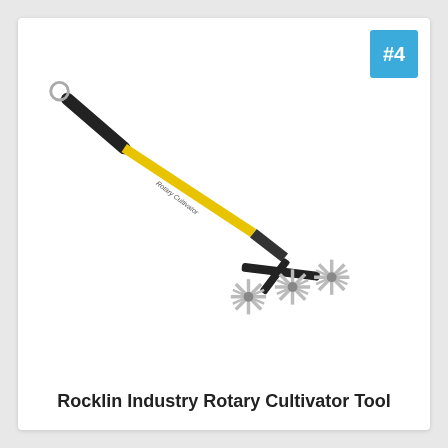[Figure (photo): Rocklin Industry Rotary Cultivator Tool with yellow fiberglass handle, black grip, and three star-shaped rotary tines at the end, positioned diagonally from upper-left to lower-right]
Rocklin Industry Rotary Cultivator Tool